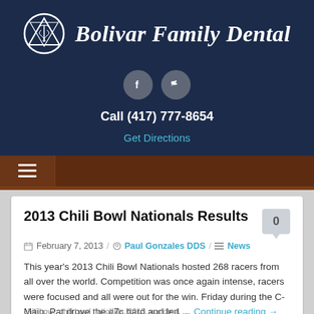[Figure (logo): Bolivar Family Dental logo with circular emblem containing a caduceus symbol and a downward-pointing triangle, next to the text 'Bolivar Family Dental' in italic serif font]
[Figure (infographic): Social media icons: Facebook (f) and Twitter (bird) in grey circular buttons]
Call (417) 777-8654
Get Directions
[Figure (screenshot): Brown navigation bar with hamburger menu icon (three horizontal lines)]
2013 Chili Bowl Nationals Results
February 7, 2013  /  Paul Gonzales DDS  /  News
This year's 2013 Chili Bowl Nationals hosted 268 racers from all over the world. Competition was once again intense, racers were focused and all were out for the win. Friday during the C-Main, Pat drove the #7c hard and led … Continue reading →
Read More
chili bowl, chili bowl nationals, 2013, accident, ...